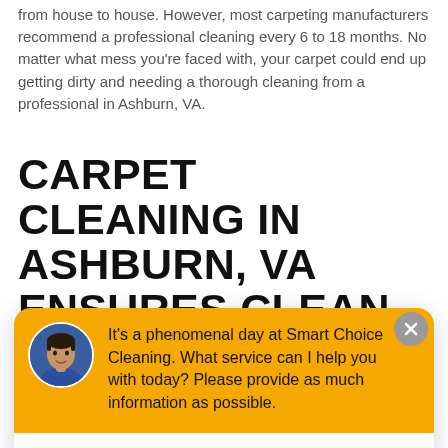from house to house. However, most carpeting manufacturers recommend a professional cleaning every 6 to 18 months. No matter what mess you're faced with, your carpet could end up getting dirty and needing a thorough cleaning from a professional in Ashburn, VA.
CARPET CLEANING IN ASHBURN, VA ENSURES CLEAN AND
[Figure (screenshot): Chat widget overlay with yellow background showing avatar photo of a man and message: 'It's a phenomenal day at Smart Choice Cleaning. What service can I help you with today? Please provide as much information as possible.' Below is a text input field reading 'Write your message...' with a send button. A close (X) button appears in the top right of the widget.]
carpet is ensured to receive a thorough cleaning.